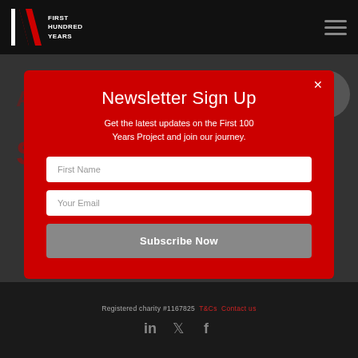First Hundred Years — Navigation header with logo and hamburger menu
[Figure (screenshot): Newsletter sign up modal popup on a dark website background. Red modal with title 'Newsletter Sign Up', subtitle text, two input fields (First Name, Your Email), and a Subscribe Now button. Background shows dark website with 'First Hundred Years' branding.]
Newsletter Sign Up
Get the latest updates on the First 100 Years Project and join our journey.
Registered charity #1167825  T&Cs  Contact us